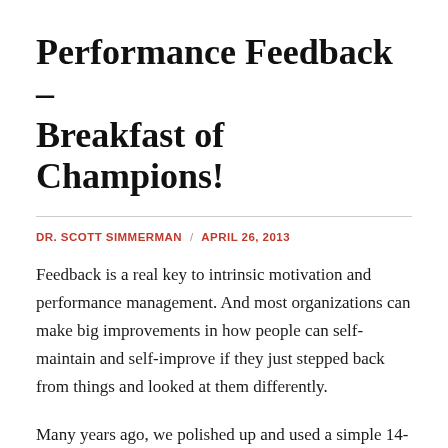Performance Feedback – Breakfast of Champions!
DR. SCOTT SIMMERMAN / APRIL 26, 2013
Feedback is a real key to intrinsic motivation and performance management. And most organizations can make big improvements in how people can self-maintain and self-improve if they just stepped back from things and looked at them differently.
Many years ago, we polished up and used a simple 14-point checklist that seemed to hit on the most important